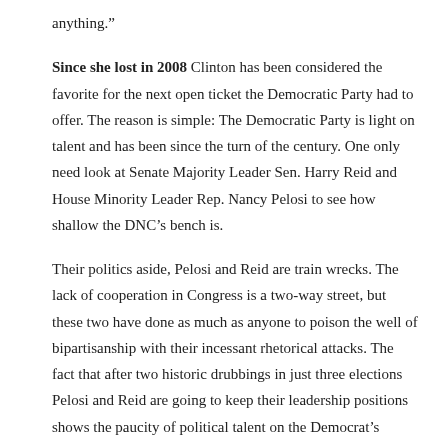anything.”
Since she lost in 2008 Clinton has been considered the favorite for the next open ticket the Democratic Party had to offer. The reason is simple: The Democratic Party is light on talent and has been since the turn of the century. One only need look at Senate Majority Leader Sen. Harry Reid and House Minority Leader Rep. Nancy Pelosi to see how shallow the DNC’s bench is.
Their politics aside, Pelosi and Reid are train wrecks. The lack of cooperation in Congress is a two-way street, but these two have done as much as anyone to poison the well of bipartisanship with their incessant rhetorical attacks. The fact that after two historic drubbings in just three elections Pelosi and Reid are going to keep their leadership positions shows the paucity of political talent on the Democrat’s roster.